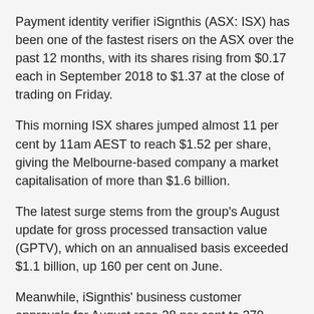Payment identity verifier iSignthis (ASX: ISX) has been one of the fastest risers on the ASX over the past 12 months, with its shares rising from $0.17 each in September 2018 to $1.37 at the close of trading on Friday.
This morning ISX shares jumped almost 11 per cent by 11am AEST to reach $1.52 per share, giving the Melbourne-based company a market capitalisation of more than $1.6 billion.
The latest surge stems from the group's August update for gross processed transaction value (GPTV), which on an annualised basis exceeded $1.1 billion, up 160 per cent on June.
Meanwhile, iSignthis' business customer approvals for August rose 28 per cent to 270, compared to 210 in June.
The company is cross-listed with shares on the Frankfurt Stock Exchange as well where it trades under the ticker TA8.
With its 'Paydentity' and ISXPay solutions, iSignthis gives